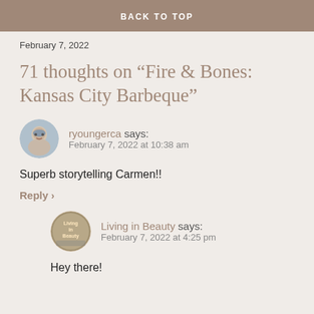BACK TO TOP
February 7, 2022
71 thoughts on “Fire & Bones: Kansas City Barbeque”
ryoungerca says: February 7, 2022 at 10:38 am
Superb storytelling Carmen!!
Reply >
Living in Beauty says: February 7, 2022 at 4:25 pm
Hey there!